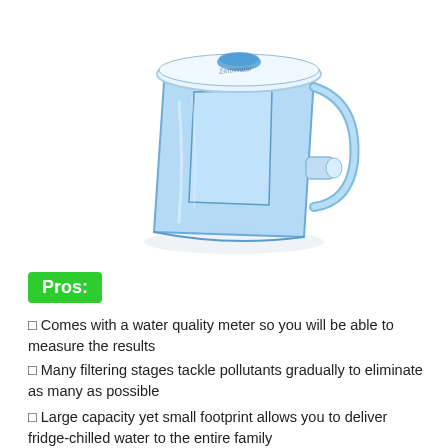[Figure (photo): A blue transparent water filter pitcher with white lid, shown at an angle. The pitcher has a large clear blue body with a handle and appears to be a ZeroWater or similar brand filtration pitcher.]
Pros:
⬡ Comes with a water quality meter so you will be able to measure the results
⬡ Many filtering stages tackle pollutants gradually to eliminate as many as possible
⬡ Large capacity yet small footprint allows you to deliver fridge-chilled water to the entire family